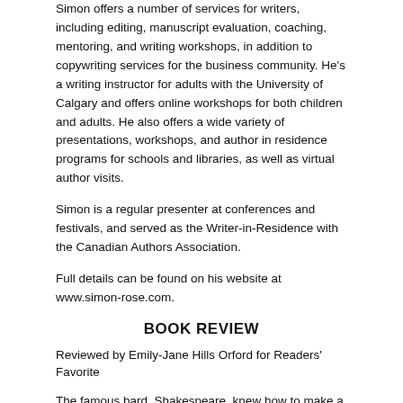Simon offers a number of services for writers, including editing, manuscript evaluation, coaching, mentoring, and writing workshops, in addition to copywriting services for the business community. He's a writing instructor for adults with the University of Calgary and offers online workshops for both children and adults. He also offers a wide variety of presentations, workshops, and author in residence programs for schools and libraries, as well as virtual author visits.
Simon is a regular presenter at conferences and festivals, and served as the Writer-in-Residence with the Canadian Authors Association.
Full details can be found on his website at www.simon-rose.com.
BOOK REVIEW
Reviewed by Emily-Jane Hills Orford for Readers' Favorite
The famous bard, Shakespeare, knew how to make a candid point in very few words. "A tale told by an idiot, full of sound and fury, signifying nothing," from Shakespeare's Macbeth, sums up the need to be short and to the point, or, quite frankly, no one will get the point. In this day and age, when few people really read, let alone understand what they do read, there is a need to be brief and coherent with a powerful hook to attract attention. Most people who look at social media are just scanning quickly through page after page. A professional copywriter's job is to make each page worthy and intriguing enough to demand further attention. And, there is an art to how to use social media: be short and to the point and hook